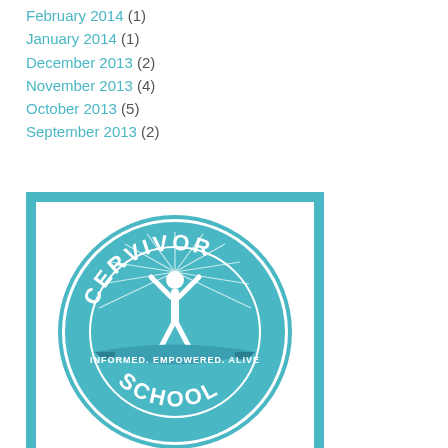February 2014 (1)
January 2014 (1)
December 2013 (2)
November 2013 (4)
October 2013 (5)
September 2013 (2)
[Figure (logo): Cervivor School circular logo in teal with a figure raising arms, rays of light, and a banner reading INFORMED. EMPOWERED. ALIVE.]
A LIVE event for